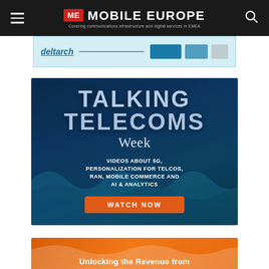ME MOBILE EUROPE — Covering communications infrastructure and digital services in EMEA
[Figure (screenshot): Partial advertisement banner with light blue background, italic underlined text 'deltarch' in blue, and a dark blue button]
[Figure (illustration): Talking Telecoms Week promotional banner on dark navy blue background. Large bold text: TALKING TELECOMS Week. Subtext: VIDEOS ABOUT 5G, PERSONALIZATION FOR TELCOS, RAN, MOBILE COMMERCE AND AI & ANALYTICS. Orange button with text: WATCH NOW]
[Figure (illustration): Orange gradient banner partially visible at bottom, with white text: Unlocking the Revenue from]